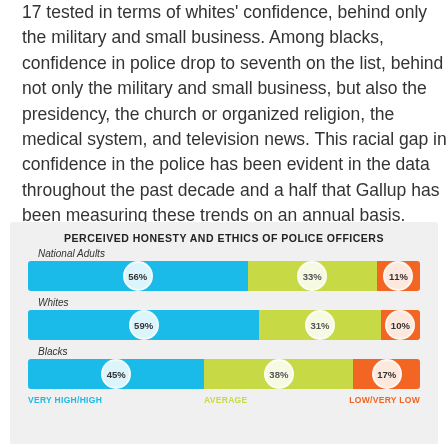17 tested in terms of whites' confidence, behind only the military and small business. Among blacks, confidence in police drop to seventh on the list, behind not only the military and small business, but also the presidency, the church or organized religion, the medical system, and television news. This racial gap in confidence in the police has been evident in the data throughout the past decade and a half that Gallup has been measuring these trends on an annual basis.
[Figure (stacked-bar-chart): PERCEIVED HONESTY AND ETHICS OF POLICE OFFICERS]